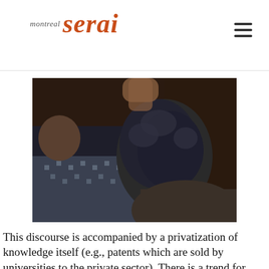montreal serai
[Figure (photo): Two people seen from behind, sitting close together. The person on the left wears a patterned knit sweater, the person on the right has dark curly hair. The background is dark and indistinct.]
This discourse is accompanied by a privatization of knowledge itself (e.g., patents which are sold by universities to the private sector). There is a trend for universities, financed by the public and students, to assume a greater proportion of research and